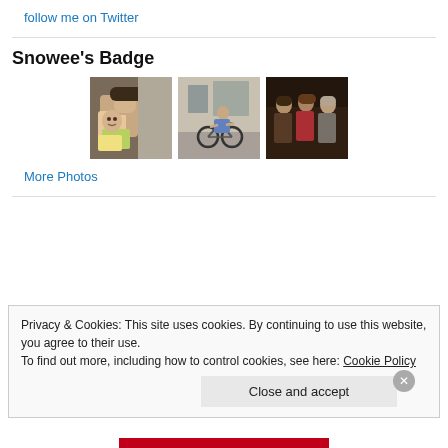follow me on Twitter
Snowee's Badge
[Figure (photo): Three thumbnail photos: 1) A woman and young girl in a selfie, 2) A person sitting on a bicycle outside a building, 3) Three people standing together in a dark setting]
More Photos
Privacy & Cookies: This site uses cookies. By continuing to use this website, you agree to their use.
To find out more, including how to control cookies, see here: Cookie Policy
Close and accept